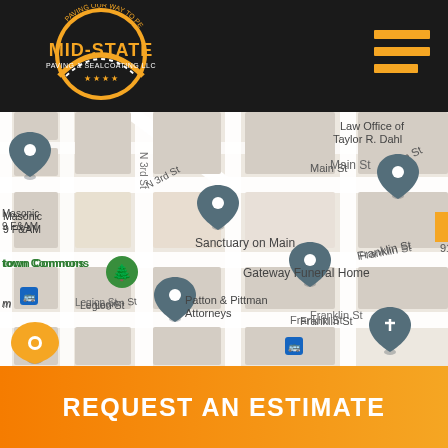Mid-State Paving & Sealcoating LLC
[Figure (map): Google Maps screenshot showing downtown Clarksville area with landmarks including Sanctuary on Main, Gateway Funeral Home, Patton & Pittman Attorneys, Law Office of Taylor R. Dahl, First Baptist Clarksville, Masonic 9 F&AM, town Commons, streets including Main St, Franklin St, Legion St, N 3rd St]
REQUEST AN ESTIMATE